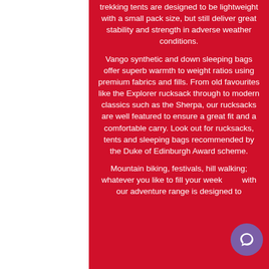trekking tents are designed to be lightweight with a small pack size, but still deliver great stability and strength in adverse weather conditions. Vango synthetic and down sleeping bags offer superb warmth to weight ratios using premium fabrics and fills. From old favourites like the Explorer rucksack through to modern classics such as the Sherpa, our rucksacks are well featured to ensure a great fit and a comfortable carry. Look out for rucksacks, tents and sleeping bags recommended by the Duke of Edinburgh Award scheme. Mountain biking, festivals, hill walking; whatever you like to fill your weekends with our adventure range is designed to help you from every position...